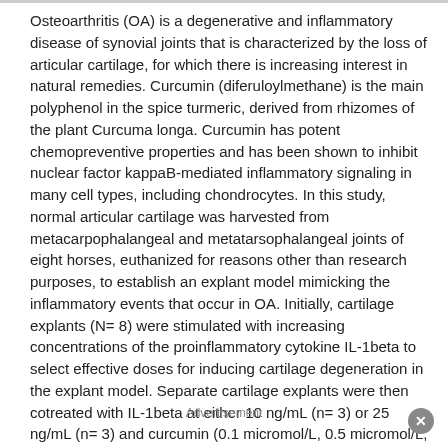Osteoarthritis (OA) is a degenerative and inflammatory disease of synovial joints that is characterized by the loss of articular cartilage, for which there is increasing interest in natural remedies. Curcumin (diferuloylmethane) is the main polyphenol in the spice turmeric, derived from rhizomes of the plant Curcuma longa. Curcumin has potent chemopreventive properties and has been shown to inhibit nuclear factor kappaB-mediated inflammatory signaling in many cell types, including chondrocytes. In this study, normal articular cartilage was harvested from metacarpophalangeal and metatarsophalangeal joints of eight horses, euthanized for reasons other than research purposes, to establish an explant model mimicking the inflammatory events that occur in OA. Initially, cartilage explants (N= 8) were stimulated with increasing concentrations of the proinflammatory cytokine IL-1beta to select effective doses for inducing cartilage degeneration in the explant model. Separate cartilage explants were then cotreated with IL-1beta at either 10 ng/mL (n= 3) or 25 ng/mL (n= 3) and curcumin (0.1 micromol/L, 0.5 micromol/L, 1 micromol/L, 10 micromol/L, and 100 micromol/L). After 5 days, the percentage of glycosaminoglycan (GAG) release from the explants was assessed using a dimethylmethylene blue colorimetric assay. Curcumin (100 micromol/L) significantly reduced IL-1beta-stimulated GAC